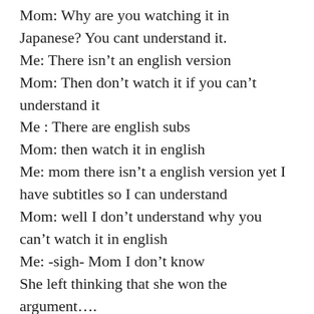Mom: Why are you watching it in Japanese? You cant understand it.
Me: There isn't an english version
Mom: Then don't watch it if you can't understand it
Me : There are english subs
Mom: then watch it in english
Me: mom there isn't a english version yet I have subtitles so I can understand
Mom: well I don't understand why you can't watch it in english
Me: -sigh- Mom I don't know
She left thinking that she won the argument….